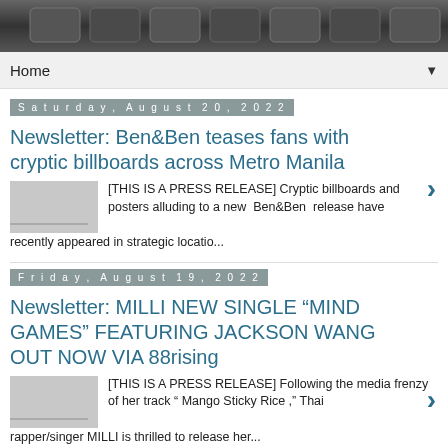[Figure (photo): Dark metallic/keyboard background image at the top of the page]
Home ▼
Saturday, August 20, 2022
Newsletter: Ben&Ben teases fans with cryptic billboards across Metro Manila
[THIS IS A PRESS RELEASE] Cryptic billboards and posters alluding to a new Ben&Ben release have recently appeared in strategic locatio...
Friday, August 19, 2022
Newsletter: MILLI NEW SINGLE “MIND GAMES” FEATURING JACKSON WANG OUT NOW VIA 88rising
[THIS IS A PRESS RELEASE] Following the media frenzy of her track “ Mango Sticky Rice ,” Thai rapper/singer MILLI is thrilled to release her...